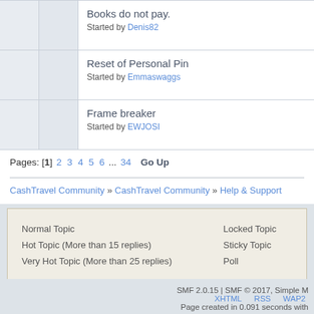Books do not pay. Started by Denis82
Reset of Personal Pin Started by Emmaswaggs
Frame breaker Started by EWJOSI
Pages: [1] 2 3 4 5 6 ... 34  Go Up
CashTravel Community » CashTravel Community » Help & Support
Normal Topic
Hot Topic (More than 15 replies)
Very Hot Topic (More than 25 replies)
Locked Topic
Sticky Topic
Poll
SMF 2.0.15 | SMF © 2017, Simple M   XHTML  RSS  WAP2   Page created in 0.091 seconds with